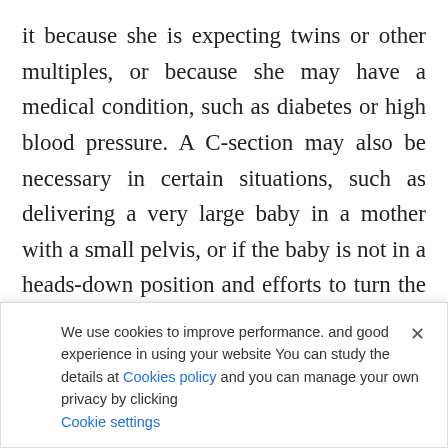it because she is expecting twins or other multiples, or because she may have a medical condition, such as diabetes or high blood pressure. A C-section may also be necessary in certain situations, such as delivering a very large baby in a mother with a small pelvis, or if the baby is not in a heads-down position and efforts to turn the baby into this position before birth have been unsuccessful. If a pregnant woman knows that she will need a C-section, a
We use cookies to improve performance. and good experience in using your website You can study the details at Cookies policy and you can manage your own privacy by clicking Cookie settings